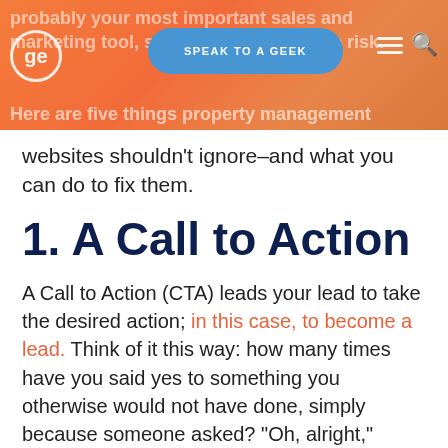probably your most important sales and marketing tool, so it ... the risk. Here are five things property management
[Figure (logo): ge logo circle outline with letters ge in white on orange background]
[Figure (other): SPEAK TO A GEEK blue rounded button in navigation bar]
websites shouldn't ignore–and what you can do to fix them.
1. A Call to Action
A Call to Action (CTA) leads your lead to take the desired action; in this case, to become a lead. Think of it this way: how many times have you said yes to something you otherwise would not have done, simply because someone asked? "Oh, alright," moments can turn into leads: you can't get an answer if you don't first ask the question!